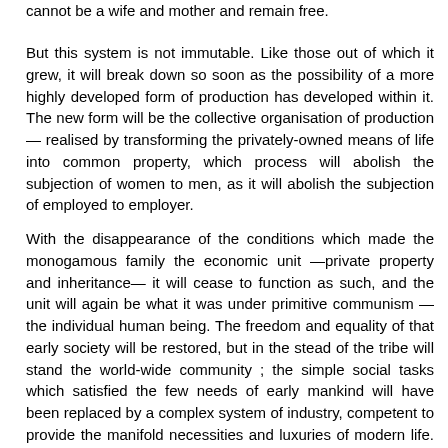cannot be a wife and mother and remain free.
But this system is not immutable. Like those out of which it grew, it will break down so soon as the possibility of a more highly developed form of production has developed within it. The new form will be the collective organisation of production — realised by transforming the privately-owned means of life into common property, which process will abolish the subjection of women to men, as it will abolish the subjection of employed to employer.
With the disappearance of the conditions which made the monogamous family the economic unit —private property and inheritance— it will cease to function as such, and the unit will again be what it was under primitive communism — the individual human being. The freedom and equality of that early society will be restored, but in the stead of the tribe will stand the world-wide community ; the simple social tasks which satisfied the few needs of early mankind will have been replaced by a complex system of industry, competent to provide the manifold necessities and luxuries of modern life. No man holding the power to starve another, no man can